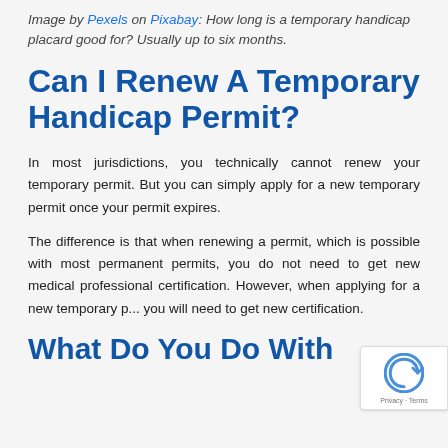Image by Pexels on Pixabay: How long is a temporary handicap placard good for? Usually up to six months.
Can I Renew A Temporary Handicap Permit?
In most jurisdictions, you technically cannot renew your temporary permit. But you can simply apply for a new temporary permit once your permit expires.
The difference is that when renewing a permit, which is possible with most permanent permits, you do not need to get new medical professional certification. However, when applying for a new temporary p... you will need to get new certification.
What Do You Do With